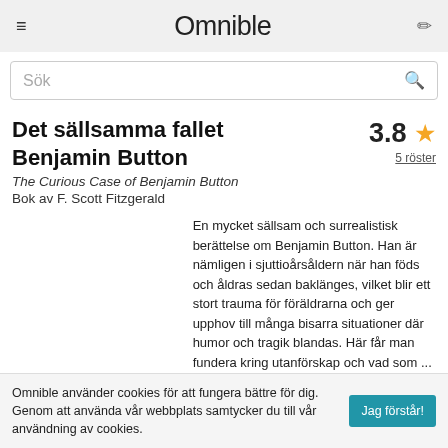Omnible
Det sällsamma fallet Benjamin Button
3.8 ★
5 röster
The Curious Case of Benjamin Button
Bok av F. Scott Fitzgerald
En mycket sällsam och surrealistisk berättelse om Benjamin Button. Han är nämligen i sjuttioårsåldern när han föds och åldras sedan baklänges, vilket blir ett stort trauma för föräldrarna och ger upphov till många bisarra situationer där humor och tragik blandas. Här får man fundera kring utanförskap och vad som ...
[mer]
Omnible använder cookies för att fungera bättre för dig. Genom att använda vår webbplats samtycker du till vår användning av cookies. Jag förstår!